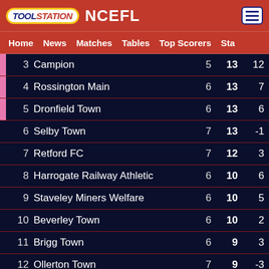TOOLSTATION NCEFL
Home | News | Matches | Tables | Top Scorers | Sta
| Pos | Team | P | Pts | GD |
| --- | --- | --- | --- | --- |
| 3 | Campion | 5 | 13 | 12 |
| 4 | Rossington Main | 6 | 13 | 7 |
| 5 | Dronfield Town | 6 | 13 | 6 |
| 6 | Selby Town | 7 | 13 | -1 |
| 7 | Retford FC | 7 | 12 | 3 |
| 8 | Harrogate Railway Athletic | 6 | 10 | 6 |
| 9 | Staveley Miners Welfare | 6 | 10 | 5 |
| 10 | Beverley Town | 6 | 10 | 2 |
| 11 | Brigg Town | 6 | 9 | 3 |
| 12 | Ollerton Town | 7 | 9 | -3 |
| 13 | Swallownest | 7 | 9 | -13 |